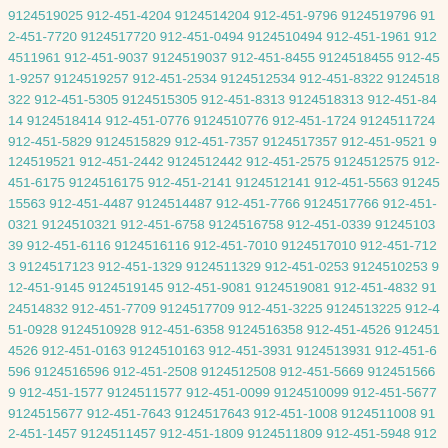9124519025 912-451-4204 9124514204 912-451-9796 9124519796 912-451-7720 9124517720 912-451-0494 9124510494 912-451-1961 9124511961 912-451-9037 9124519037 912-451-8455 9124518455 912-451-9257 9124519257 912-451-2534 9124512534 912-451-8322 9124518322 912-451-5305 9124515305 912-451-8313 9124518313 912-451-8414 9124518414 912-451-0776 9124510776 912-451-1724 9124511724 912-451-5829 9124515829 912-451-7357 9124517357 912-451-9521 9124519521 912-451-2442 9124512442 912-451-2575 9124512575 912-451-6175 9124516175 912-451-2141 9124512141 912-451-5563 9124515563 912-451-4487 9124514487 912-451-7766 9124517766 912-451-0321 9124510321 912-451-6758 9124516758 912-451-0339 9124510339 912-451-6116 9124516116 912-451-7010 9124517010 912-451-7123 9124517123 912-451-1329 9124511329 912-451-0253 9124510253 912-451-9145 9124519145 912-451-9081 9124519081 912-451-4832 9124514832 912-451-7709 9124517709 912-451-3225 9124513225 912-451-0928 9124510928 912-451-6358 9124516358 912-451-4526 9124514526 912-451-0163 9124510163 912-451-3931 9124513931 912-451-6596 9124516596 912-451-2508 9124512508 912-451-5669 9124515669 912-451-1577 9124511577 912-451-0099 9124510099 912-451-5677 9124515677 912-451-7643 9124517643 912-451-1008 9124511008 912-451-1457 9124511457 912-451-1809 9124511809 912-451-5948 9124515948 912-451-9052 9124519052 912-451-0559 9124510559 912-451-3831 9124513831 912-451-2890 9124512890 912-451-1958 9124511958 912-451-2160 9124512160 912-451-0465 9124510465 912-451-0474 9124510474 912-451-1755 9124511755 912-451-7708 9124517708 912-451-1197